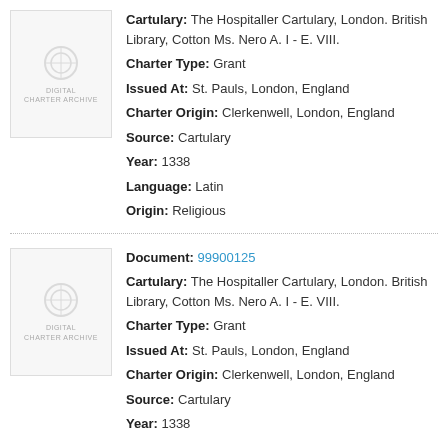[Figure (illustration): Thumbnail placeholder image with watermark logo for a document record]
Cartulary: The Hospitaller Cartulary, London. British Library, Cotton Ms. Nero A. I - E. VIII.
Charter Type: Grant
Issued At: St. Pauls, London, England
Charter Origin: Clerkenwell, London, England
Source: Cartulary
Year: 1338
Language: Latin
Origin: Religious
[Figure (illustration): Thumbnail placeholder image with watermark logo for a document record]
Document: 99900125
Cartulary: The Hospitaller Cartulary, London. British Library, Cotton Ms. Nero A. I - E. VIII.
Charter Type: Grant
Issued At: St. Pauls, London, England
Charter Origin: Clerkenwell, London, England
Source: Cartulary
Year: 1338